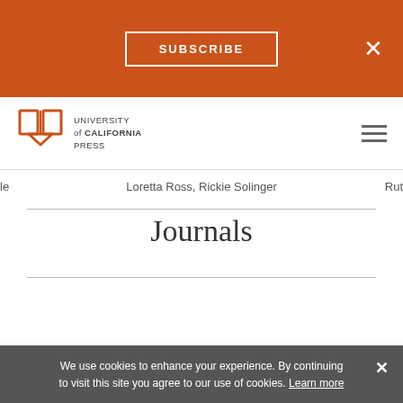SUBSCRIBE
[Figure (logo): University of California Press logo with book icon and text]
Loretta Ross, Rickie Solinger
le
Rut
Journals
We use cookies to enhance your experience. By continuing to visit this site you agree to our use of cookies. Learn more